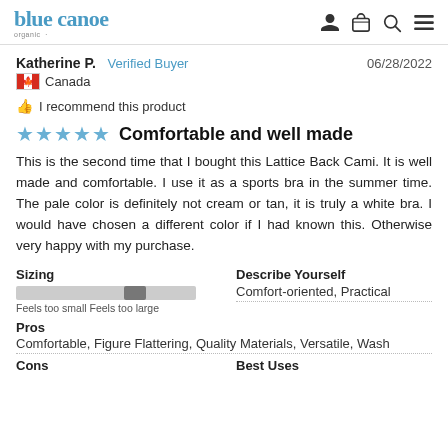blue canoe organic
Katherine P.  Verified Buyer  06/28/2022
🇨🇦 Canada
I recommend this product
Comfortable and well made
This is the second time that I bought this Lattice Back Cami. It is well made and comfortable. I use it as a sports bra in the summer time. The pale color is definitely not cream or tan, it is truly a white bra. I would have chosen a different color if I had known this. Otherwise very happy with my purchase.
Sizing
Feels too smallFeels too large
Describe Yourself
Comfort-oriented, Practical
Pros
Comfortable, Figure Flattering, Quality Materials, Versatile, Wash
Cons
Best Uses